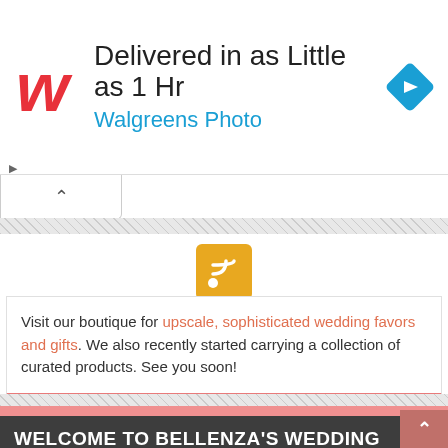[Figure (other): Walgreens Photo advertisement banner with W logo, headline 'Delivered in as Little as 1 Hr', subtext 'Walgreens Photo', and a blue diamond navigation icon on the right.]
[Figure (other): Collapse/minimize button showing upward caret chevron]
[Figure (other): RSS feed orange/yellow square icon with wifi-style signal symbol]
Visit our boutique for upscale, sophisticated wedding favors and gifts. We also recently started carrying a collection of curated products. See you soon!
WELCOME TO BELLENZA'S WEDDING BLOG!
At the Wedding Bistro, we're always keen on providing you with inspiration and unique wedding ideas for modern weddings. Get budget-friendly decorating tips, favor and gift ideas, real wedding stories, style inspiration, trending ideas, and DIYs for planning your special day!